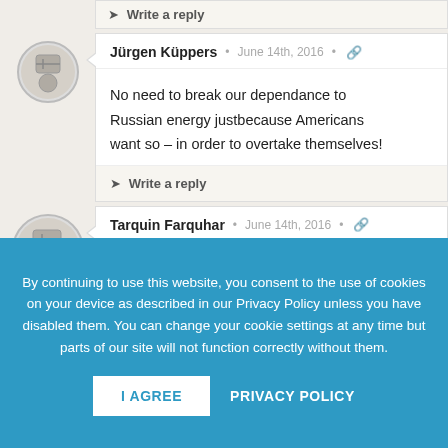➤ Write a reply
Jürgen Küppers • June 14th, 2016 •
No need to break our dependance to Russian energy justbecause Americans want so – in order to overtake themselves!
➤ Write a reply
Tarquin Farquhar • June 14th, 2016 •
By continuing to use this website, you consent to the use of cookies on your device as described in our Privacy Policy unless you have disabled them. You can change your cookie settings at any time but parts of our site will not function correctly without them.
I AGREE
PRIVACY POLICY